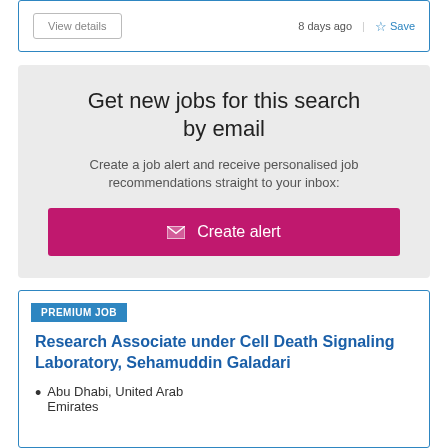View details   8 days ago  Save
Get new jobs for this search by email
Create a job alert and receive personalised job recommendations straight to your inbox:
Create alert
PREMIUM JOB
Research Associate under Cell Death Signaling Laboratory, Sehamuddin Galadari
Abu Dhabi, United Arab Emirates